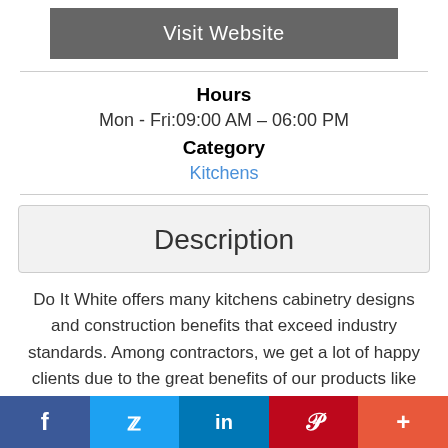Visit Website
Hours
Mon - Fri:09:00 AM – 06:00 PM
Category
Kitchens
Description
Do It White offers many kitchens cabinetry designs and construction benefits that exceed industry standards. Among contractors, we get a lot of happy clients due to the great benefits of our products like
f  Twitter  in  Pinterest  +